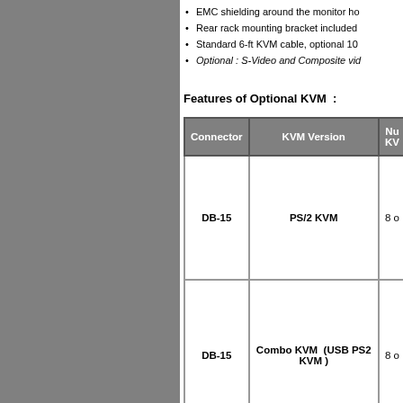EMC shielding around the monitor ho
Rear rack mounting bracket included
Standard 6-ft KVM cable, optional 10
Optional : S-Video and Composite vid
Features of Optional KVM :
| Connector | KVM Version | Nu KV |
| --- | --- | --- |
| DB-15 | PS/2 KVM | 8 o |
| DB-15 | Combo KVM (USB PS2 KVM ) | 8 o |